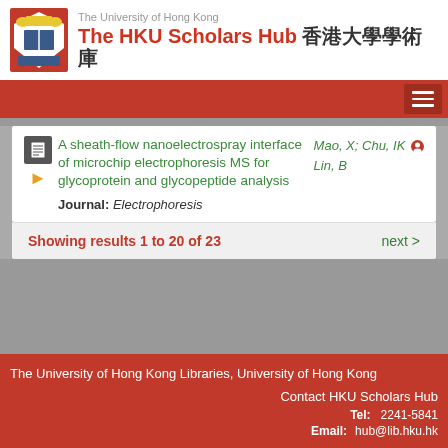The University of Hong Kong — The HKU Scholars Hub 香港大學學術庫
A sheath-flow nanoelectrospray interface of microchip electrophoresis MS for glycoprotein and glycopeptide analysis | Mao, X; Chu, IK; Lin, B | Journal: Electrophoresis
Showing results 1 to 20 of 23   next >
The University of Hong Kong Libraries, University of Hong Kong | Contact HKU Scholars Hub | Tel: 2241-5841 | Email: hub@lib.hku.hk